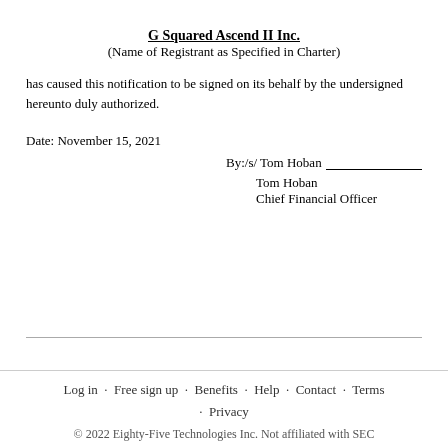G Squared Ascend II Inc.
(Name of Registrant as Specified in Charter)
has caused this notification to be signed on its behalf by the undersigned hereunto duly authorized.
Date: November 15, 2021
By:/s/ Tom Hoban
Tom Hoban
Chief Financial Officer
Log in · Free sign up · Benefits · Help · Contact · Terms · Privacy
© 2022 Eighty-Five Technologies Inc. Not affiliated with SEC